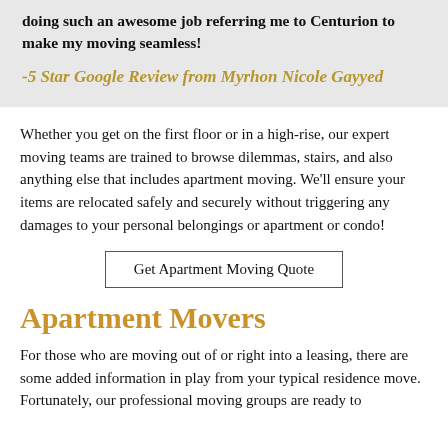doing such an awesome job referring me to Centurion to make my moving seamless!
-5 Star Google Review from Myrhon Nicole Gayyed
Whether you get on the first floor or in a high-rise, our expert moving teams are trained to browse dilemmas, stairs, and also anything else that includes apartment moving. We'll ensure your items are relocated safely and securely without triggering any damages to your personal belongings or apartment or condo!
Get Apartment Moving Quote
Apartment Movers
For those who are moving out of or right into a leasing, there are some added information in play from your typical residence move. Fortunately, our professional moving groups are ready to